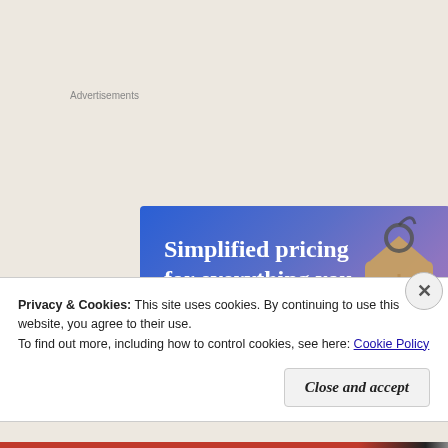Advertisements
[Figure (illustration): Advertisement banner with blue-to-purple gradient background, reading 'Simplified pricing for everything you need.' with a pink 'Build Your Website' button and a price tag graphic on the right side.]
Privacy & Cookies: This site uses cookies. By continuing to use this website, you agree to their use.
To find out more, including how to control cookies, see here: Cookie Policy
Close and accept